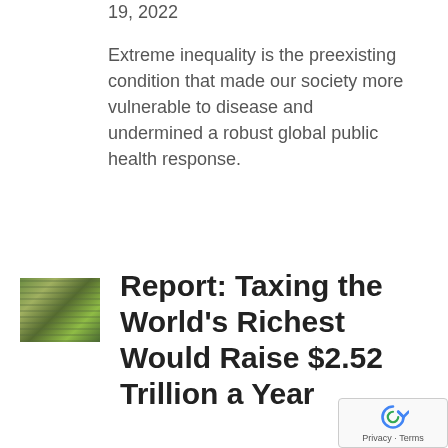19, 2022
Extreme inequality is the preexisting condition that made our society more vulnerable to disease and undermined a robust global public health response.
[Figure (photo): Small thumbnail image of stacked paper money/cash bills]
Report: Taxing the World's Richest Would Raise $2.52 Trillion a Year
[Figure (other): reCAPTCHA widget showing Privacy and Terms text]